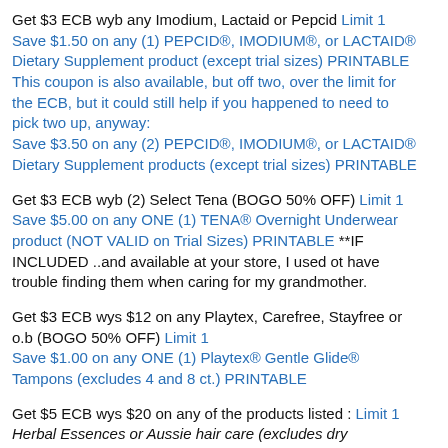Get $3 ECB wyb any Imodium, Lactaid or Pepcid Limit 1 Save $1.50 on any (1) PEPCID®, IMODIUM®, or LACTAID® Dietary Supplement product (except trial sizes) PRINTABLE This coupon is also available, but off two, over the limit for the ECB, but it could still help if you happened to need to pick two up, anyway: Save $3.50 on any (2) PEPCID®, IMODIUM®, or LACTAID® Dietary Supplement products (except trial sizes) PRINTABLE
Get $3 ECB wyb (2) Select Tena (BOGO 50% OFF) Limit 1 Save $5.00 on any ONE (1) TENA® Overnight Underwear product (NOT VALID on Trial Sizes) PRINTABLE **IF INCLUDED ..and available at your store, I used ot have trouble finding them when caring for my grandmother.
Get $3 ECB wys $12 on any Playtex, Carefree, Stayfree or o.b (BOGO 50% OFF) Limit 1 Save $1.00 on any ONE (1) Playtex® Gentle Glide® Tampons (excludes 4 and 8 ct.) PRINTABLE
Get $5 ECB wys $20 on any of the products listed : Limit 1 Herbal Essences or Aussie hair care (excludes dry...